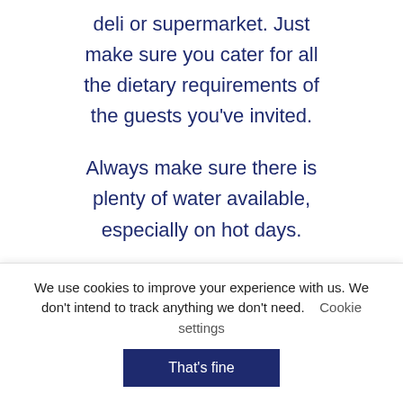deli or supermarket. Just make sure you cater for all the dietary requirements of the guests you've invited.
Always make sure there is plenty of water available, especially on hot days.
FLOWERS
Fragrant flowers and the summer season go hand in
We use cookies to improve your experience with us. We don't intend to track anything we don't need. Cookie settings That's fine